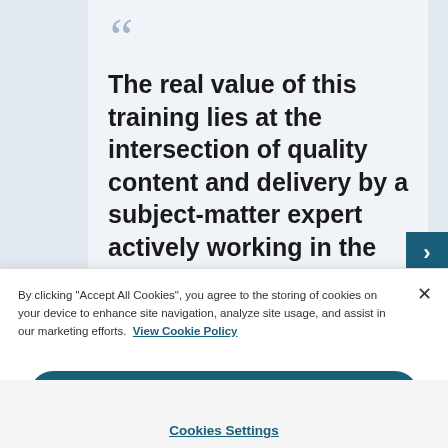The real value of this training lies at the intersection of quality content and delivery by a subject-matter expert actively working in the field, making it incredibly relevant and...
By clicking "Accept All Cookies", you agree to the storing of cookies on your device to enhance site navigation, analyze site usage, and assist in our marketing efforts. View Cookie Policy
Accept All Cookies
Cookies Settings